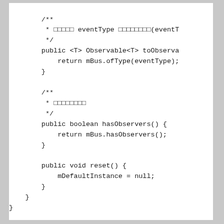[Figure (screenshot): Code snippet showing Java class methods: toObservable with eventType parameter returning mBus.ofType(eventType), hasObservers returning mBus.hasObservers(), and reset setting mDefaultInstance to null. Includes Javadoc comments with CJK characters.]